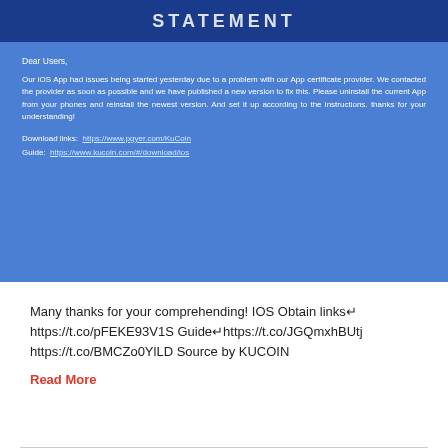[Figure (other): Dark blue banner header with white uppercase bold text 'STATEMENT' partially visible]
Dear Users,

Our iOS App had issues being started yesterday due to a problem with our App certificate provider. We contacted the provider as soon as possible and we have published a new version to fix this. Please uninstall the current App from your phones and reinstall the newest version. And set it up according to the instructions. thanks for your understanding!

Download links: https://www.pgyer.com/KuCoin

Guide: https://www.kucoin.com/#/download/ios
Many thanks for your comprehending! IOS Obtain links↵ https://t.co/pFEKE93V1S Guide↵https://t.co/JGQmxhBUtj https://t.co/BMCZo0YlLD Source by KUCOIN
Read More